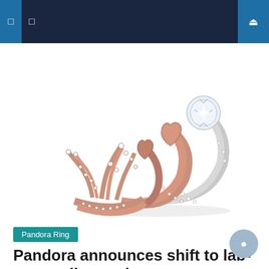Navigation bar with menu icons and search
[Figure (photo): Three Pandora rings stacked together: a rose gold crown ring with crystals, two rose gold heart-shaped rings, and a silver solitaire ring with a large round diamond, displayed on a white background.]
Pandora Ring
Pandora announces shift to lab-grown diamonds
May 5, 2021   Nancy D. Smart
Jewelry giant Pandora has announced that it will move away from mined diamonds and instead use sustainably produced, lab-grown diamonds. With millennial buying trends of caring about the environment and not believing